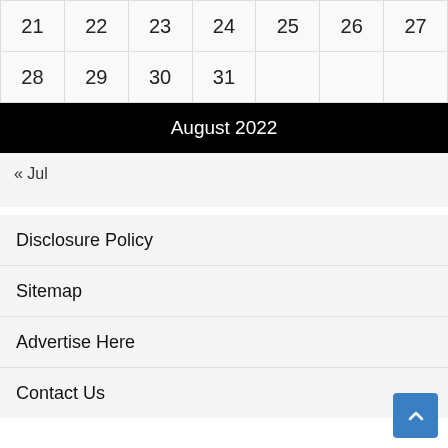| 21 | 22 | 23 | 24 | 25 | 26 | 27 |
| 28 | 29 | 30 | 31 |  |  |  |
August 2022
« Jul
Disclosure Policy
Sitemap
Advertise Here
Contact Us